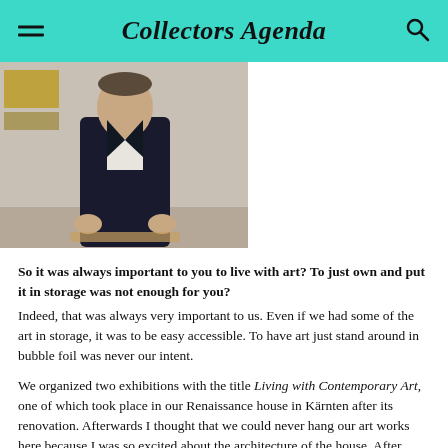Collectors Agenda
[Figure (photo): A man in a dark suit standing in front of a wall with artwork, photographed from torso up]
So it was always important to you to live with art? To just own and put it in storage was not enough for you?
Indeed, that was always very important to us. Even if we had some of the art in storage, it was to be easy accessible. To have art just stand around in bubble foil was never our intent.
We organized two exhibitions with the title Living with Contemporary Art, one of which took place in our Renaissance house in Kärnten after its renovation. Afterwards I thought that we could never hang our art works here because I was so excited about the architecture of the house. After some time, we did decide to organize an exhibition in the house. That was in 2003. The old doors and cabinets as well as the Renaissance period rooms have interacted well